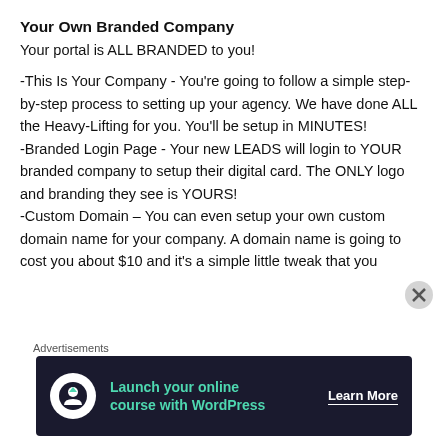Your Own Branded Company
Your portal is ALL BRANDED to you!
-This Is Your Company - You're going to follow a simple step-by-step process to setting up your agency. We have done ALL the Heavy-Lifting for you. You'll be setup in MINUTES!
-Branded Login Page - Your new LEADS will login to YOUR branded company to setup their digital card. The ONLY logo and branding they see is YOURS!
-Custom Domain – You can even setup your own custom domain name for your company. A domain name is going to cost you about $10 and it's a simple little tweak that you
Advertisements
[Figure (infographic): Advertisement banner: dark navy background with circular white icon showing a person/upload symbol, teal text 'Launch your online course with WordPress', and white 'Learn More' button text.]